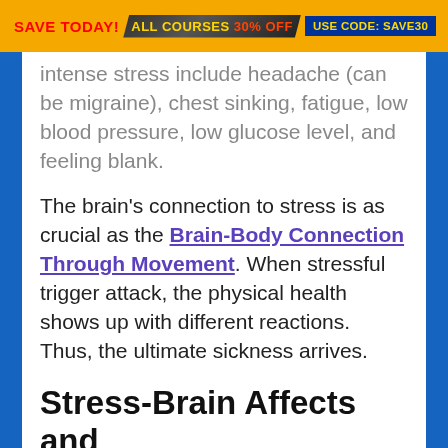SAVE TODAY! ALL COURSES 30% OFF USE CODE: SAVE30
intense stress include headache (can be migraine), chest sinking, fatigue, low blood pressure, low glucose level, and feeling blank.
The brain's connection to stress is as crucial as the Brain-Body Connection Through Movement. When stressful trigger attack, the physical health shows up with different reactions. Thus, the ultimate sickness arrives.
Stress-Brain Affects and